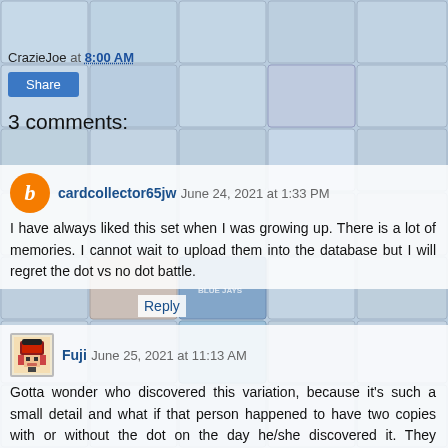[Figure (screenshot): Background collage of sports trading cards (baseball and hockey cards) arranged in a grid pattern, faded/semi-transparent]
CrazieJoe at 8:00 AM
Share
3 comments:
cardcollector65jw June 24, 2021 at 1:33 PM
I have always liked this set when I was growing up. There is a lot of memories. I cannot wait to upload them into the database but I will regret the dot vs no dot battle.
Reply
Fuji June 25, 2021 at 11:13 AM
Gotta wonder who discovered this variation, because it's such a small detail and what if that person happened to have two copies with or without the dot on the day he/she discovered it. They deserve a prize or something. Okay... off to see which version I have in my Gwynn collection and whether or not I have the other version in my duplicate box.